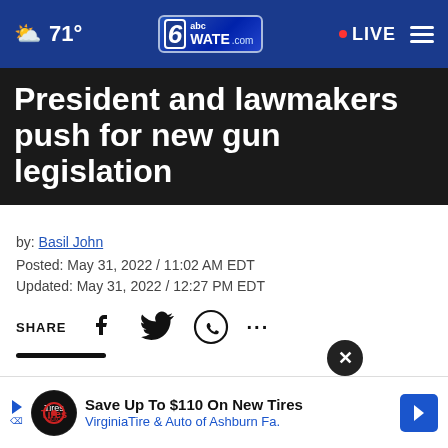71° | 6abc WATE.com | LIVE
President and lawmakers push for new gun legislation
by: Basil John
Posted: May 31, 2022 / 11:02 AM EDT
Updated: May 31, 2022 / 12:27 PM EDT
SHARE [icons: Facebook, Twitter, WhatsApp, more]
WASHINGTON (NEXSTAR) — On Capitol Hill, there is an effort to get gun legislation passed, and the President and lawmakers say it needs to get done soon.